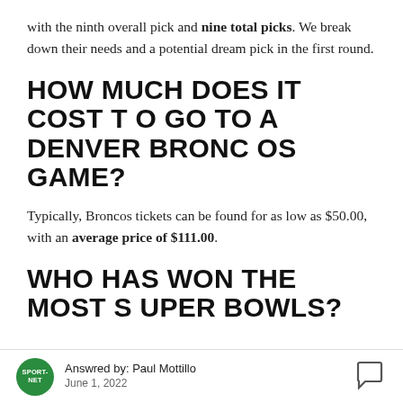with the ninth overall pick and nine total picks. We break down their needs and a potential dream pick in the first round.
HOW MUCH DOES IT COST TO GO TO A DENVER BRONCOS GAME?
Typically, Broncos tickets can be found for as low as $50.00, with an average price of $111.00.
WHO HAS WON THE MOST SUPER BOWLS?
Answred by: Paul Mottillo | June 1, 2022